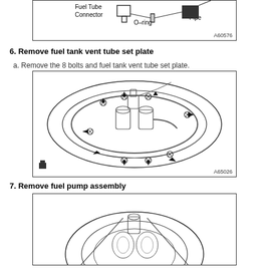[Figure (engineering-diagram): Diagram showing fuel tube connector, O-ring, and pipe components with labels. Figure reference A60576.]
6. Remove fuel tank vent tube set plate
a. Remove the 8 bolts and fuel tank vent tube set plate.
[Figure (engineering-diagram): Top-down view of fuel tank vent tube set plate showing 8 bolt locations indicated by arrows around an oval plate. Figure reference A65026.]
7. Remove fuel pump assembly
[Figure (engineering-diagram): Partial top-down view of fuel pump assembly being removed from fuel tank, showing circular pump unit with components.]